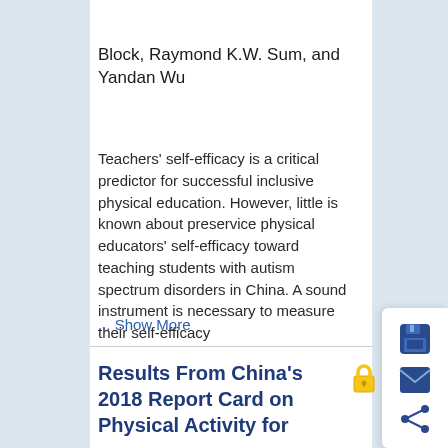[Figure (other): Black banner strip with partial text 'experience.']
Block, Raymond K.W. Sum, and Yandan Wu
Teachers' self-efficacy is a critical predictor for successful inclusive physical education. However, little is known about preservice physical educators' self-efficacy toward teaching students with autism spectrum disorders in China. A sound instrument is necessary to measure their self-efficacy
... Show More
Results From China's 2018 Report Card on Physical Activity for
[Figure (illustration): Yellow padlock icon indicating locked/paywalled content]
[Figure (illustration): Sidebar with save (floppy disk), email (envelope), and share icons in dark navy blue]